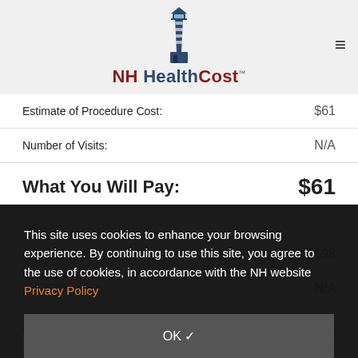[Figure (logo): NH HealthCost logo with lighthouse illustration and TM trademark]
| Estimate of Procedure Cost: | $61 |
| Number of Visits: | N/A |
| What You Will Pay: | $61 |
Two Bitewing X-Ray Images?
| Estimate of Procedure Cost: | $98 |
| Number of Visits: | N/A |
| What You Will Pay: | $98 |
This site uses cookies to enhance your browsing experience. By continuing to use this site, you agree to the use of cookies, in accordance with the NH website Privacy Policy
OK ✓